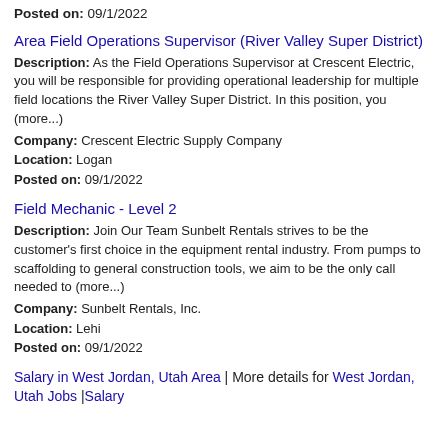Posted on: 09/1/2022
Area Field Operations Supervisor (River Valley Super District)
Description: As the Field Operations Supervisor at Crescent Electric, you will be responsible for providing operational leadership for multiple field locations the River Valley Super District. In this position, you (more...)
Company: Crescent Electric Supply Company
Location: Logan
Posted on: 09/1/2022
Field Mechanic - Level 2
Description: Join Our Team Sunbelt Rentals strives to be the customer's first choice in the equipment rental industry. From pumps to scaffolding to general construction tools, we aim to be the only call needed to (more...)
Company: Sunbelt Rentals, Inc.
Location: Lehi
Posted on: 09/1/2022
Salary in West Jordan, Utah Area | More details for West Jordan, Utah Jobs |Salary